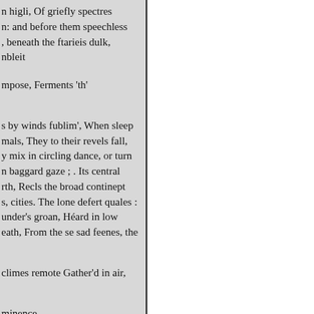n higli, Of griefly spectres
n: and before them speechless
, beneath the ftarieis dulk,
nbleit

mpose, Ferments 'th'

s by winds fublim', When sleep
mals, They to their revels fall,
y mix in circling dance, or turn
n baggard gaze ; . Its central
rth, Recls the broad continept
s, cities. The lone defert quales :
under's groan, Héard in low
eath, From the se sad feenes, the

climes remote Gather'd in air,

minence

hundred hills

retch'd

to heaven